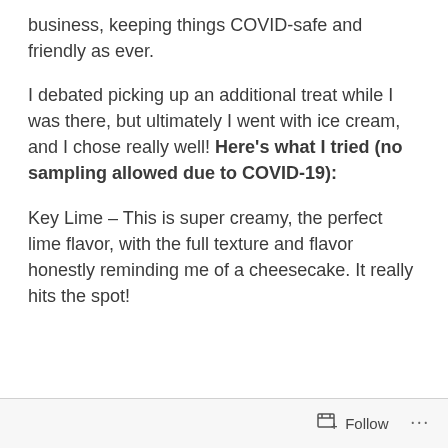business, keeping things COVID-safe and friendly as ever.
I debated picking up an additional treat while I was there, but ultimately I went with ice cream, and I chose really well! Here's what I tried (no sampling allowed due to COVID-19):
Key Lime – This is super creamy, the perfect lime flavor, with the full texture and flavor honestly reminding me of a cheesecake. It really hits the spot!
Follow ···